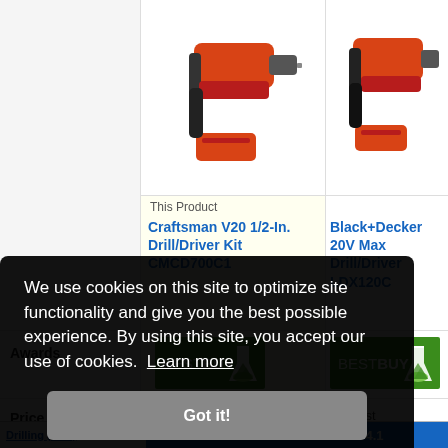[Figure (screenshot): Product comparison page showing two cordless drills: Craftsman V20 1/2-In. Drill/Driver Kit CMCD700C1 and Black+Decker 20V Max Drill/Driver LDX120C, both with Best Buy badges, with a cookie consent overlay dialog.]
This Product
Craftsman V20 1/2-In. Drill/Driver Kit CMCD700C1
Black+Decker 20V Max Drill/Driver LDX120C
Awards
BESTBUY
BESTBUY
Price
$79 List
$69.00 at Amazon
$60 List
$59.00 at Amazon
We use cookies on this site to optimize site functionality and give you the best possible experience. By using this site, you accept our use of cookies.  Learn more
Got it!
Drilling (55%)
6.6
4.1